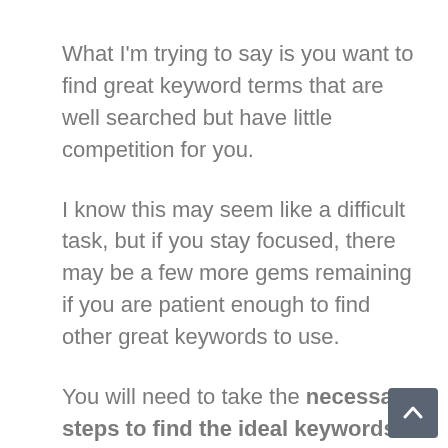What I'm trying to say is you want to find great keyword terms that are well searched but have little competition for you.
I know this may seem like a difficult task, but if you stay focused, there may be a few more gems remaining if you are patient enough to find other great keywords to use.
You will need to take the necessary steps to find the ideal keywords.
One thing that separates those who are going places in Internet marketing from